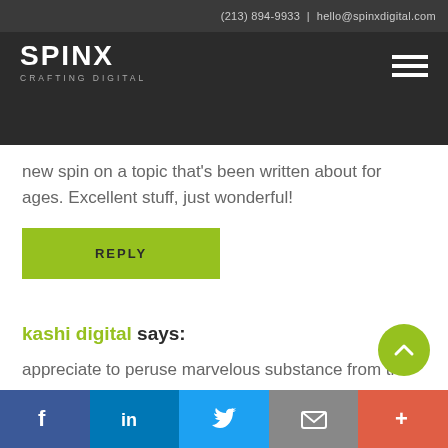(213) 894-9933 | hello@spinxdigital.com
[Figure (logo): SPINX CRAFTING DIGITAL logo in white on dark background with hamburger menu icon]
new spin on a topic that’s been written about for ages. Excellent stuff, just wonderful!
REPLY
kashi digital says:
appreciate to peruse marvelous substance from this site. I bookmarked this site.
REPLY